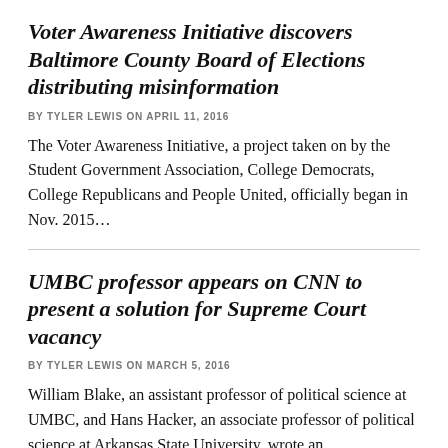Voter Awareness Initiative discovers Baltimore County Board of Elections distributing misinformation
BY TYLER LEWIS ON APRIL 11, 2016
The Voter Awareness Initiative, a project taken on by the Student Government Association, College Democrats, College Republicans and People United, officially began in Nov. 2015…
UMBC professor appears on CNN to present a solution for Supreme Court vacancy
BY TYLER LEWIS ON MARCH 5, 2016
William Blake, an assistant professor of political science at UMBC, and Hans Hacker, an associate professor of political science at Arkansas State University, wrote an…